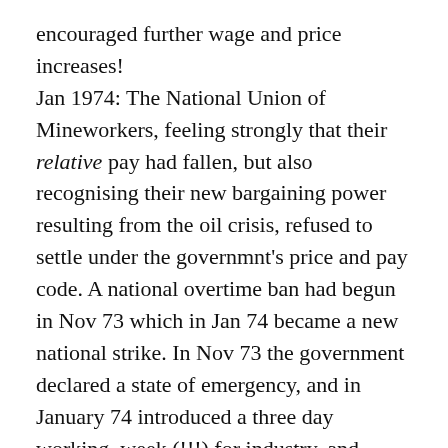encouraged further wage and price increases! Jan 1974: The National Union of Mineworkers, feeling strongly that their relative pay had fallen, but also recognising their new bargaining power resulting from the oil crisis, refused to settle under the governmnt's price and pay code. A national overtime ban had begun in Nov 73 which in Jan 74 became a new national strike. In Nov 73 the government declared a state of emergency, and in January 74 introduced a three day working–week (!!!) for industry, and periodic power cuts, in order to conserve coal and coaldependent electricity. The government was effectively forced to call a general election. The pay board reported just after the election, they recommended that an additional increase be paid to the miners on the grounds that the long-run contraction of the industry would in future